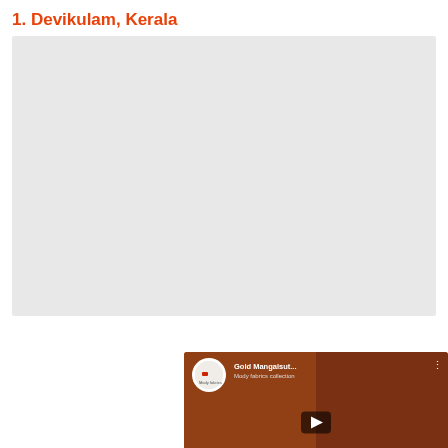1. Devikulam, Kerala
[Figure (photo): A large light gray placeholder image area, followed by a YouTube video thumbnail showing gold mangalsutra jewelry on a red background, with a YouTube channel icon, video title 'Gold Mangalsut...', play button, and YouTube logo at the bottom.]